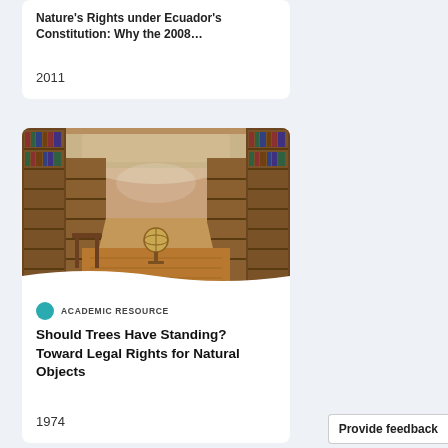Nature's Rights under Ecuador's Constitution: Why the 2008...
2011
[Figure (photo): Interior of a historic ornate library with high bookshelves lining both walls, vaulted ceiling with frescoes, wooden floor, and a globe on a stand in the center]
ACADEMIC RESOURCE
Should Trees Have Standing? Toward Legal Rights for Natural Objects
1974
Provide feedback